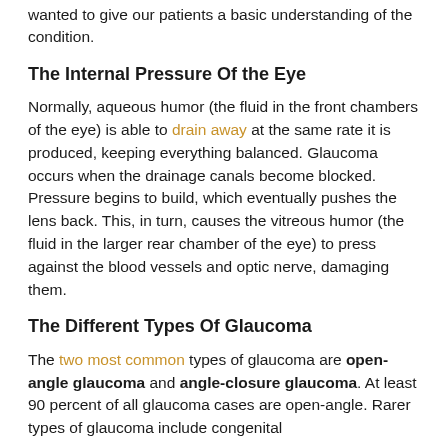wanted to give our patients a basic understanding of the condition.
The Internal Pressure Of the Eye
Normally, aqueous humor (the fluid in the front chambers of the eye) is able to drain away at the same rate it is produced, keeping everything balanced. Glaucoma occurs when the drainage canals become blocked. Pressure begins to build, which eventually pushes the lens back. This, in turn, causes the vitreous humor (the fluid in the larger rear chamber of the eye) to press against the blood vessels and optic nerve, damaging them.
The Different Types Of Glaucoma
The two most common types of glaucoma are open-angle glaucoma and angle-closure glaucoma. At least 90 percent of all glaucoma cases are open-angle. Rarer types of glaucoma include congenital